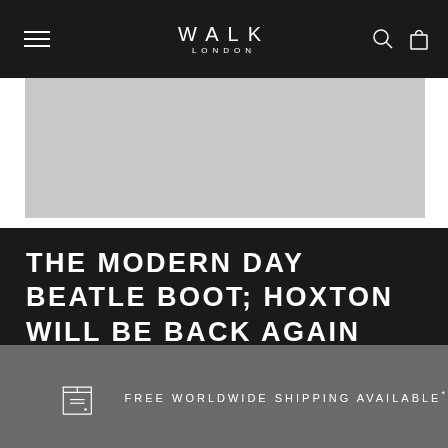WALK LONDON
[Figure (photo): Light grey product image placeholder area]
THE MODERN DAY BEATLE BOOT; HOXTON WILL BE BACK AGAIN SOON!
FREE WORLDWIDE SHIPPING AVAILABLE*